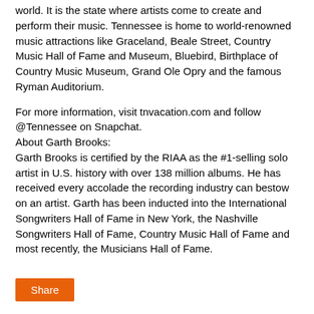world. It is the state where artists come to create and perform their music. Tennessee is home to world-renowned music attractions like Graceland, Beale Street, Country Music Hall of Fame and Museum, Bluebird, Birthplace of Country Music Museum, Grand Ole Opry and the famous Ryman Auditorium.
For more information, visit tnvacation.com and follow @Tennessee on Snapchat.
About Garth Brooks:
Garth Brooks is certified by the RIAA as the #1-selling solo artist in U.S. history with over 138 million albums. He has received every accolade the recording industry can bestow on an artist. Garth has been inducted into the International Songwriters Hall of Fame in New York, the Nashville Songwriters Hall of Fame, Country Music Hall of Fame and most recently, the Musicians Hall of Fame.